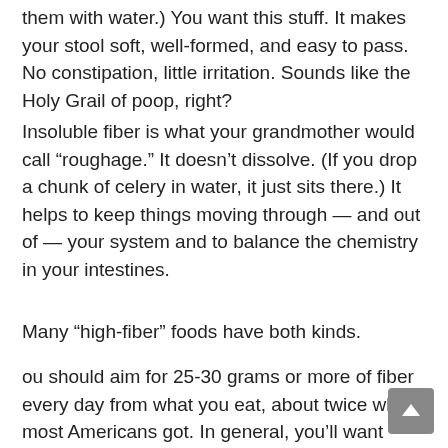them with water.) You want this stuff. It makes your stool soft, well-formed, and easy to pass. No constipation, little irritation. Sounds like the Holy Grail of poop, right?
Insoluble fiber is what your grandmother would call “roughage.” It doesn’t dissolve. (If you drop a chunk of celery in water, it just sits there.) It helps to keep things moving through — and out of — your system and to balance the chemistry in your intestines.
Many “high-fiber” foods have both kinds.
ou should aim for 25-30 grams or more of fiber every day from what you eat, about twice what most Americans got. In general, you’ll want about a